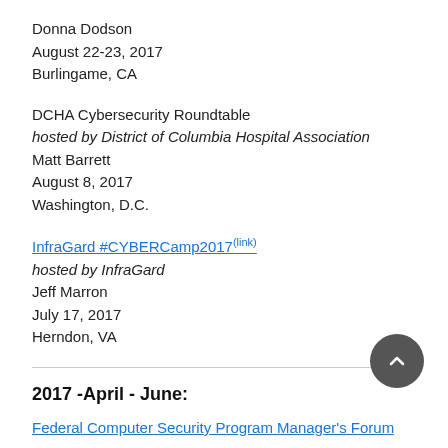Donna Dodson
August 22-23, 2017
Burlingame, CA
DCHA Cybersecurity Roundtable
hosted by District of Columbia Hospital Association
Matt Barrett
August 8, 2017
Washington, D.C.
InfraGard #CYBERCamp2017 (link)
hosted by InfraGard
Jeff Marron
July 17, 2017
Herndon, VA
2017 -April - June:
Federal Computer Security Program Manager's Forum (link)